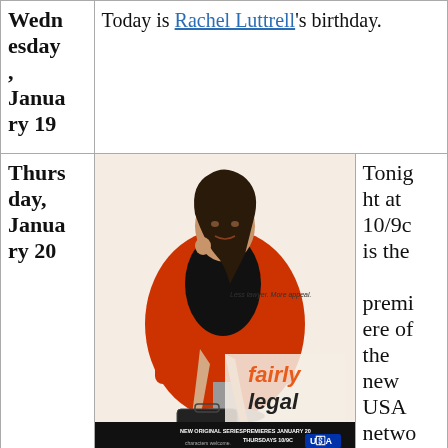| Date | Content | Details |
| --- | --- | --- |
| Wednesday, January 19 | Today is Rachel Luttrell's birthday. |  |
| Thursday, January 20 | [Fairly Legal TV show poster image] | Tonight at 10/9c is the premiere of the new USA network |